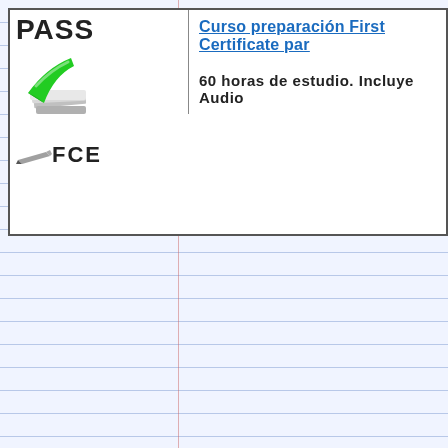[Figure (screenshot): Product listing header box showing PASS FCE logo with green checkmark icon and pencil icon, course title 'Curso preparación First Certificate par...' in blue underlined text, and subtitle '60 horas de estudio. Incluye Audio...' in bold black text. Below is a lined notebook-style background with a vertical margin line.]